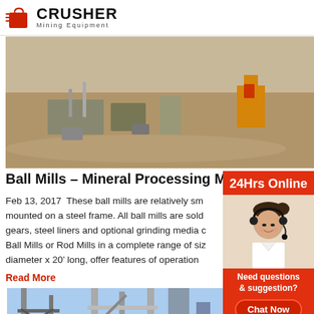[Figure (logo): Crusher Mining Equipment logo with red shopping bag icon and bold CRUSHER text]
[Figure (photo): Aerial view of a mining processing plant with heavy equipment and yellow machinery on sandy terrain]
Ball Mills – Mineral Processing Met
Feb 13, 2017  These ball mills are relatively sm mounted on a steel frame. All ball mills are sold gears, steel liners and optional grinding media c Ball Mills or Rod Mills in a complete range of siz diameter x 20' long, offer features of operation convertibility to meet your exact needs. They m
Read More
[Figure (photo): Industrial processing facility with metal scaffolding and pipe structures against blue sky]
[Figure (photo): Customer service representative with headset - 24Hrs Online sidebar panel with contact options including Chat Now button, Enquiry link, and limingjlmofen@sina.com email]